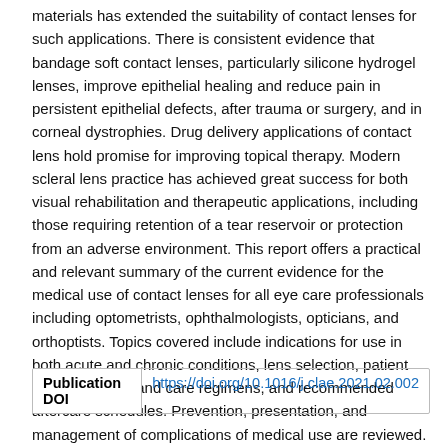materials has extended the suitability of contact lenses for such applications. There is consistent evidence that bandage soft contact lenses, particularly silicone hydrogel lenses, improve epithelial healing and reduce pain in persistent epithelial defects, after trauma or surgery, and in corneal dystrophies. Drug delivery applications of contact lens hold promise for improving topical therapy. Modern scleral lens practice has achieved great success for both visual rehabilitation and therapeutic applications, including those requiring retention of a tear reservoir or protection from an adverse environment. This report offers a practical and relevant summary of the current evidence for the medical use of contact lenses for all eye care professionals including optometrists, ophthalmologists, opticians, and orthoptists. Topics covered include indications for use in both acute and chronic conditions, lens selection, patient selection, wear and care regimens, and recommended aftercare schedules. Prevention, presentation, and management of complications of medical use are reviewed.
| Publication DOI |  |
| --- | --- |
| Publication DOI | https://doi.org/10.1016/j.clae.2021.02.002 |